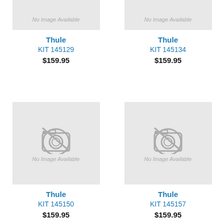[Figure (other): No Image Available placeholder for Thule KIT 145129]
Thule
KIT 145129
$159.95
[Figure (other): No Image Available placeholder for Thule KIT 145134]
Thule
KIT 145134
$159.95
[Figure (photo): No Image Available with camera icon placeholder for Thule KIT 145150]
Thule
KIT 145150
$159.95
[Figure (photo): No Image Available with camera icon placeholder for Thule KIT 145157]
Thule
KIT 145157
$159.95